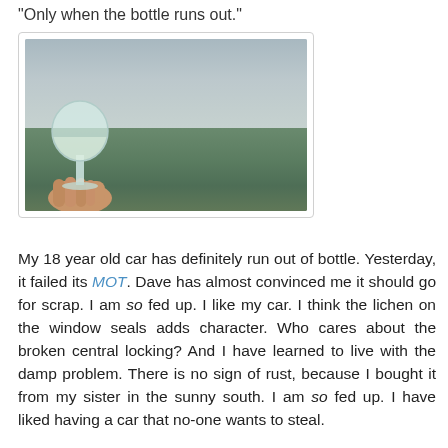“Only when the bottle runs out.”
[Figure (photo): A hand holding a wine glass filled with white wine, with a misty rural landscape of green hills and grey sky in the background.]
My 18 year old car has definitely run out of bottle. Yesterday, it failed its MOT. Dave has almost convinced me it should go for scrap. I am so fed up. I like my car. I think the lichen on the window seals adds character. Who cares about the broken central locking? And I have learned to live with the damp problem. There is no sign of rust, because I bought it from my sister in the sunny south. I am so fed up. I have liked having a car that no-one wants to steal.